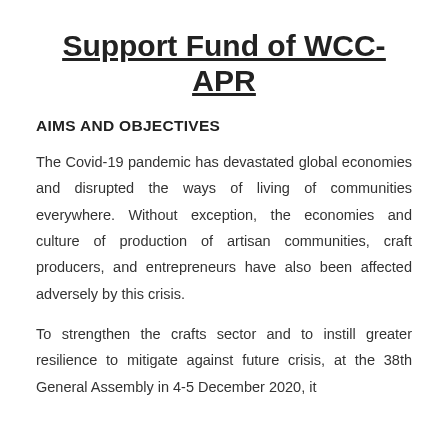Support Fund of WCC-APR
AIMS AND OBJECTIVES
The Covid-19 pandemic has devastated global economies and disrupted the ways of living of communities everywhere. Without exception, the economies and culture of production of artisan communities, craft producers, and entrepreneurs have also been affected adversely by this crisis.
To strengthen the crafts sector and to instill greater resilience to mitigate against future crisis, at the 38th General Assembly in 4-5 December 2020, it